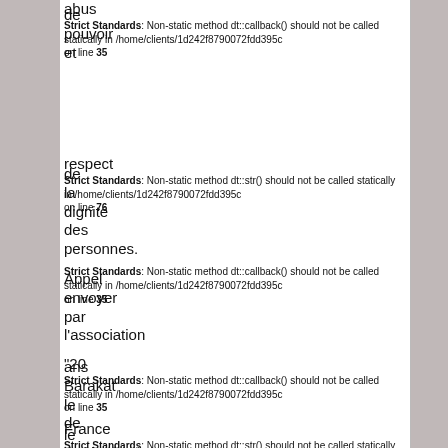abus
Strict Standards: Non-static method dt::callback() should not be called statically in /home/clients/1d242f8790072fdd395c on line 35
de
pouvoir
et
respect
Strict Standards: Non-static method dt::str() should not be called statically in /home/clients/1d242f8790072fdd395c on line 76
de
la
dignité
des
personnes.
Strict Standards: Non-static method dt::callback() should not be called statically in /home/clients/1d242f8790072fdd395c on line 35
Appel
envoyer
par
l'association
"20
Strict Standards: Non-static method dt::callback() should not be called statically in /home/clients/1d242f8790072fdd395c on line 35
ans
Barakat
le
de
France
Strict Standards: Non-static method dt::str() should not be called statically in /home/clients/1d242f8790072fdd395c on line 17
le
Static method dt::str() should not be called statically in...